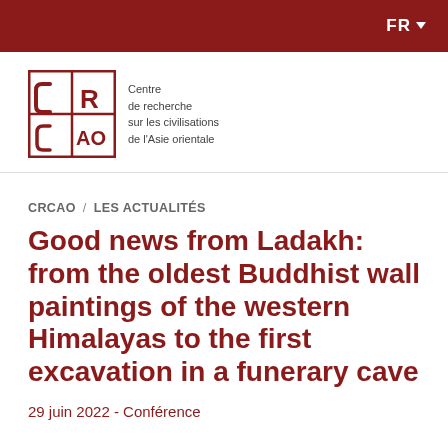FR
[Figure (logo): CRCAO logo — red square with stylized C, R, C, A, O letters, beside text: Centre de recherche sur les civilisations de l'Asie orientale]
CRCAO / LES ACTUALITÉS
Good news from Ladakh: from the oldest Buddhist wall paintings of the western Himalayas to the first excavation in a funerary cave
29 juin 2022 - Conférence